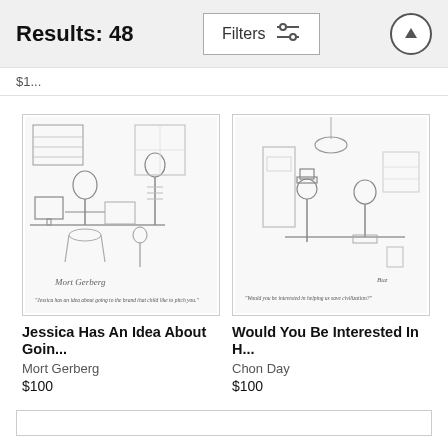Results: 48
$1..
[Figure (illustration): New Yorker style cartoon: office scene with a person at a desk, a woman standing, and a child. Caption reads: 'Jessica has an idea about going to the brand that child like to pitch you.']
Jessica Has An Idea About Goin...
Mort Gerberg
$100
[Figure (illustration): New Yorker style cartoon: two men at a desk in an office, one seated behind the desk and one standing/sitting across. Caption reads: 'Would you be interested in helping us save civilization?']
Would You Be Interested In H...
Chon Day
$100